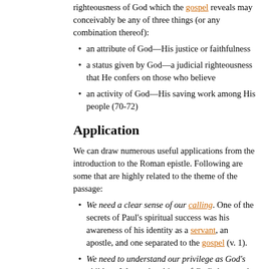righteousness of God which the gospel reveals may conceivably be any of three things (or any combination thereof):
an attribute of God—His justice or faithfulness
a status given by God—a judicial righteousness that He confers on those who believe
an activity of God—His saving work among His people (70-72)
Application
We can draw numerous useful applications from the introduction to the Roman epistle. Following are some that are highly related to the theme of the passage:
We need a clear sense of our calling. One of the secrets of Paul's spiritual success was his awareness of his identity as a servant, an apostle, and one separated to the gospel (v. 1).
We need to understand our privilege as God's children: We are the objects of God's love, and He refers to us as saints